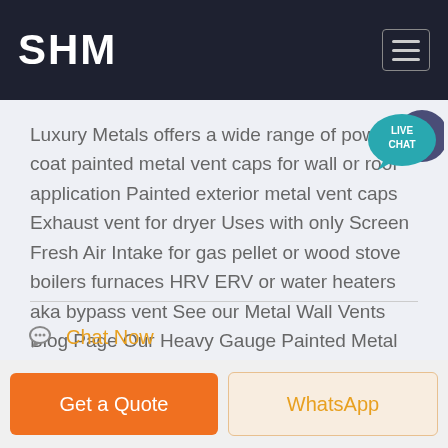SHM
[Figure (logo): Live Chat speech bubble icon in top right]
Luxury Metals offers a wide range of powder coat painted metal vent caps for wall or roof application Painted exterior metal vent caps Exhaust vent for dryer Uses with only Screen Fresh Air Intake for gas pellet or wood stove boilers furnaces HRV ERV or water heaters aka bypass vent See our Metal Wall Vents Blog Page Our Heavy Gauge Painted Metal Vents are Perfect For Multiple
Chat Now
Get a Quote
WhatsApp